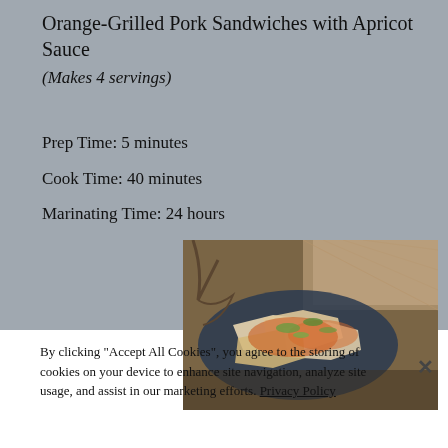Orange-Grilled Pork Sandwiches with Apricot Sauce
(Makes 4 servings)
Prep Time: 5 minutes
Cook Time: 40 minutes
Marinating Time: 24 hours
[Figure (photo): Photo of orange-grilled pork sandwiches with apricot sauce served on a dark plate, garnished with green onions, with apricots visible in the background]
By clicking “Accept All Cookies”, you agree to the storing of cookies on your device to enhance site navigation, analyze site usage, and assist in our marketing efforts. Privacy Policy